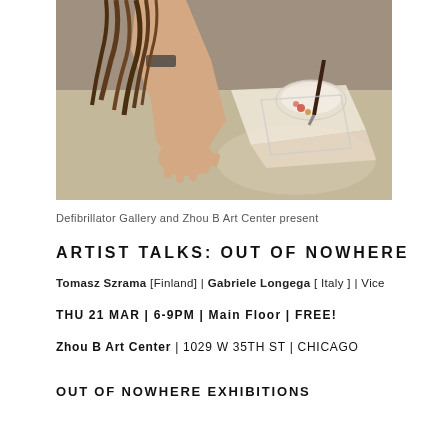[Figure (photo): A person's arm and hand pressed against sandy ground, with dreadlocks visible and art materials on cloth in background]
Defibrillator Gallery and Zhou B Art Center present
ARTIST TALKS: OUT OF NOWHERE
Tomasz Szrama [Finland] | Gabriele Longega [ Italy ] | Vice
THU 21 MAR | 6-9PM | Main Floor | FREE!
Zhou B Art Center | 1029 W 35TH ST | CHICAGO
OUT OF NOWHERE EXHIBITIONS